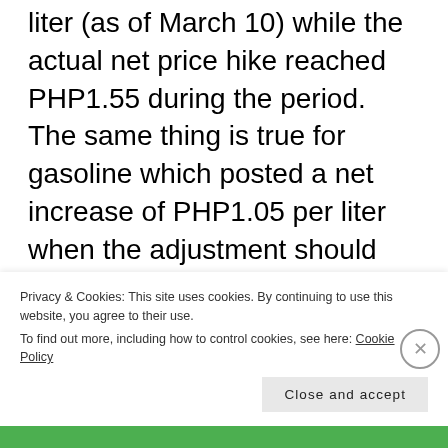liter (as of March 10) while the actual net price hike reached PHP1.55 during the period. The same thing is true for gasoline which posted a net increase of PHP1.05 per liter when the adjustment should have only been about 90 centavos per liter.
The process of estimating the price adjustment is pretty straightforward. Oil companies claim that price adjustments for
Privacy & Cookies: This site uses cookies. By continuing to use this website, you agree to their use.
To find out more, including how to control cookies, see here: Cookie Policy